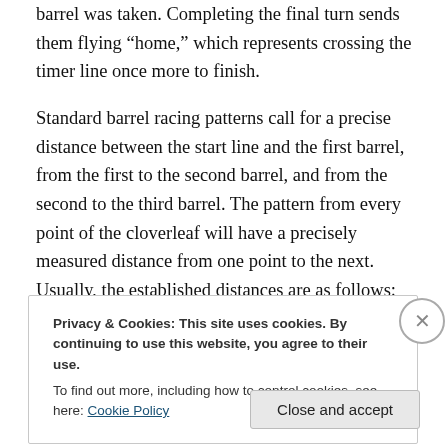barrel was taken. Completing the final turn sends them flying “home,” which represents crossing the timer line once more to finish.
Standard barrel racing patterns call for a precise distance between the start line and the first barrel, from the first to the second barrel, and from the second to the third barrel. The pattern from every point of the cloverleaf will have a precisely measured distance from one point to the next. Usually, the established distances are as follows: 90 feet between barrel #1 and barrel #2; 105 feet between barrel #1 and #3 and between #2 and #3; and 60 feet from
Privacy & Cookies: This site uses cookies. By continuing to use this website, you agree to their use.
To find out more, including how to control cookies, see here: Cookie Policy